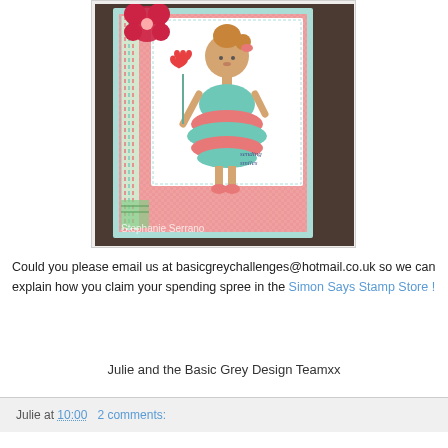[Figure (photo): Handmade greeting card featuring a cartoon girl in a teal and pink ruffled dress holding heart flowers, on a patterned pink background with a large red flower embellishment. Text reads 'sending smiles'. Watermark reads 'Stephanie Serrano'.]
Could you please email us at basicgreychallenges@hotmail.co.uk so we can explain how you claim your spending spree in the Simon Says Stamp Store !
Julie and the Basic Grey Design Teamxx
Julie at 10:00   2 comments: